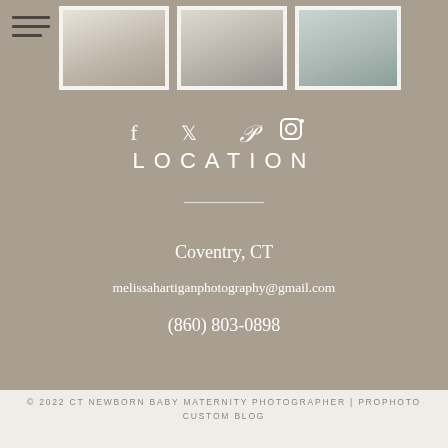[Figure (photo): Three newborn/baby photography thumbnail images at the top of the page, shown in a horizontal row with white borders]
[Figure (infographic): Social media icons row: Facebook, Twitter, Pinterest, Instagram in white]
LOCATION
Coventry, CT
melissahartiganphotography@gmail.com
(860) 803-0898
© 2022 CT NEWBORN BABY MATERNITY PHOTOGRAPHER | PROPHOTO CUSTOM BLOG